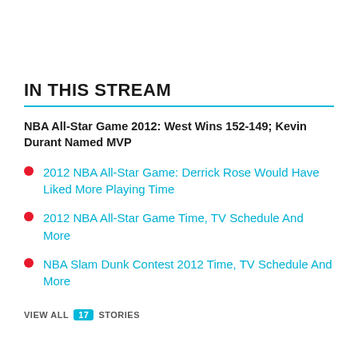IN THIS STREAM
NBA All-Star Game 2012: West Wins 152-149; Kevin Durant Named MVP
2012 NBA All-Star Game: Derrick Rose Would Have Liked More Playing Time
2012 NBA All-Star Game Time, TV Schedule And More
NBA Slam Dunk Contest 2012 Time, TV Schedule And More
VIEW ALL 17 STORIES